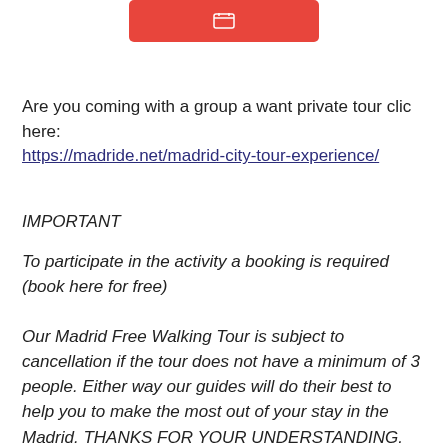[Figure (other): Red button with a small white icon (calendar/booking icon) in the center]
Are you coming with a group a want private tour clic here:
https://madride.net/madrid-city-tour-experience/
IMPORTANT
To participate in the activity a booking is required (book here for free)
Our Madrid Free Walking Tour is subject to cancellation if the tour does not have a minimum of 3 people. Either way our guides will do their best to help you to make the most out of your stay in the Madrid. THANKS FOR YOUR UNDERSTANDING.